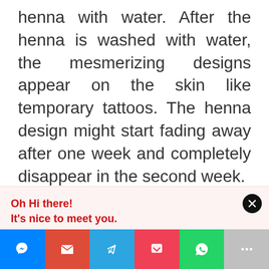henna with water. After the henna is washed with water, the mesmerizing designs appear on the skin like temporary tattoos. The henna design might start fading away after one week and completely disappear in the second week.
Oh Hi there!
It's nice to meet you.

Sign up to receive awesome content in your inbox, every week.
[Figure (infographic): Social sharing bar with icons: Messenger (blue), Gmail (red), Telegram (light blue), Pocket (pink-red), WhatsApp (green), More/Plus (grey)]